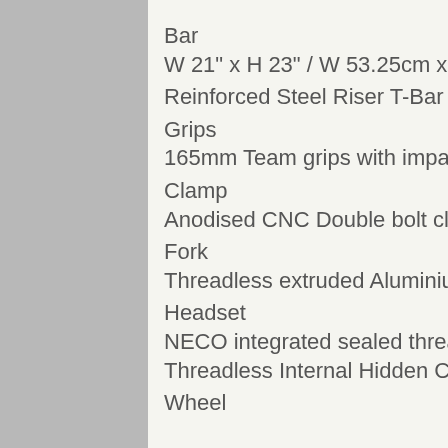Bar
W 21" x H 23" / W 53.25cm x H 58.5cm
Reinforced Steel Riser T-Bar
Grips
165mm Team grips with impact resistant bar ends
Clamp
Anodised CNC Double bolt clamp
Fork
Threadless extruded Aluminium fork
Headset
NECO integrated sealed threadless
Threadless Internal Hidden Compression (IHC) system
Wheel